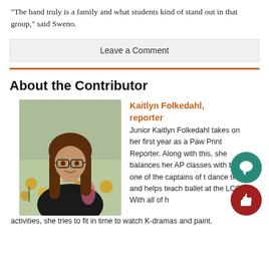“The band truly is a family and what students kind of stand out in that group,” said Sweno.
Leave a Comment
About the Contributor
[Figure (photo): Photo of Kaitlyn Folkedahl, a young woman with long brown hair wearing glasses and a black shirt, with yellow flowers in the background.]
Kaitlyn Folkedahl, reporter
Junior Kaitlyn Folkedahl takes on her first year as a Paw Print Reporter. Along with this, she balances her AP classes with being one of the captains of the dance team and helps teach ballet at the LCC. With all of her activities, she tries to fit in time to watch K-dramas and paint.